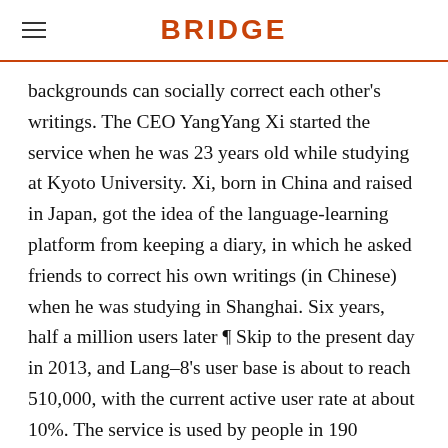BRIDGE
backgrounds can socially correct each other's writings. The CEO YangYang Xi started the service when he was 23 years old while studying at Kyoto University. Xi, born in China and raised in Japan, got the idea of the language-learning platform from keeping a diary, in which he asked friends to correct his own writings (in Chinese) when he was studying in Shanghai. Six years, half a million users later ¶ Skip to the present day in 2013, and Lang–8's user base is about to reach 510,000, with the current active user rate at about 10%. The service is used by people in 190 countries, 70% of them from outside Japan. The primary users are business professionals. While the 500,000 user milestone is an